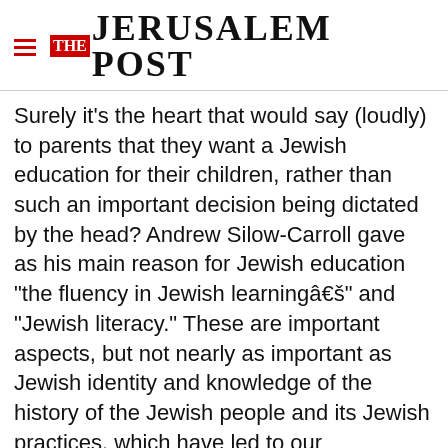THE JERUSALEM POST
Surely it's the heart that would say (loudly) to parents that they want a Jewish education for their children, rather than such an important decision being dictated by the head? Andrew Silow-Carroll gave as his main reason for Jewish education "the fluency in Jewish learningâ€š" and "Jewish literacy." These are important aspects, but not nearly as important as Jewish identity and knowledge of the history of the Jewish people and its Jewish practices, which have led to our
Advertisement